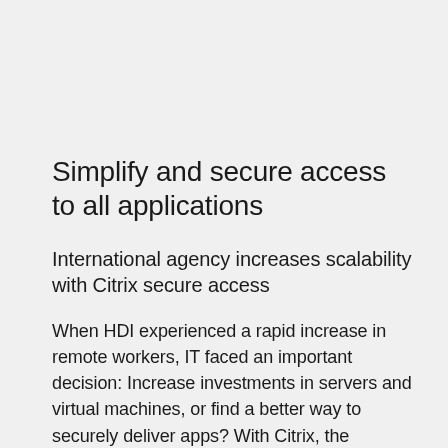Simplify and secure access to all applications
International agency increases scalability with Citrix secure access
When HDI experienced a rapid increase in remote workers, IT faced an important decision: Increase investments in servers and virtual machines, or find a better way to securely deliver apps? With Citrix, the company was able to securely support unmanaged and BYO